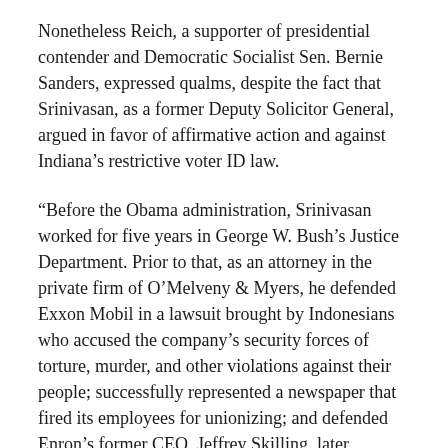Nonetheless Reich, a supporter of presidential contender and Democratic Socialist Sen. Bernie Sanders, expressed qualms, despite the fact that Srinivasan, as a former Deputy Solicitor General, argued in favor of affirmative action and against Indiana's restrictive voter ID law.
“Before the Obama administration, Srinivasan worked for five years in George W. Bush’s Justice Department. Prior to that, as an attorney in the private firm of O’Melveny & Myers, he defended Exxon Mobil in a lawsuit brought by Indonesians who accused the company’s security forces of torture, murder, and other violations against their people; successfully represented a newspaper that fired its employees for unionizing; and defended Enron’s former CEO, Jeffrey Skilling, later convicted for financial fraud,” Reich wrote. “But in these instances, too, it could be argued he was just representing clients. Another clue: After graduating Stanford Law School in 1995, Srinivasan clerked for two Republican-appointed jurists—Judge J. Harvie